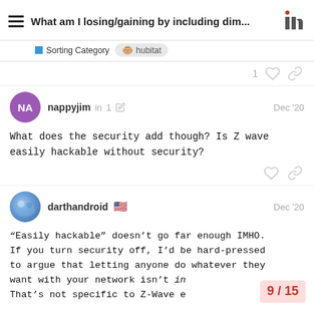What am I losing/gaining by including dim...
Sorting Category  hubitat
1
nappyjim in  1  Dec '20
What does the security add though? Is Z wave easily hackable without security?
darthandroid 🇺🇸  Dec '20
“Easily hackable” doesn’t go far enough IMHO. If you turn security off, I’d be hard-pressed to argue that letting anyone do whatever they want with your network isn’t in... That’s not specific to Z-Wave e
9 / 15